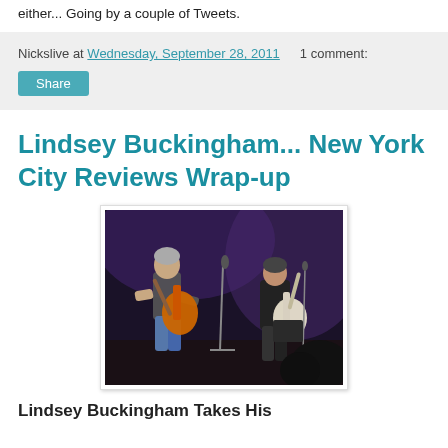either... Going by a couple of Tweets.
Nickslive at Wednesday, September 28, 2011   1 comment:
Share
Lindsey Buckingham... New York City Reviews Wrap-up
[Figure (photo): Two guitarists performing on stage. The performer on the left plays an orange electric guitar, wearing a gray jacket and jeans. The performer on the right plays a white electric guitar, wearing dark clothing. Stage lighting and microphone stands visible in background.]
Lindsey Buckingham Takes His